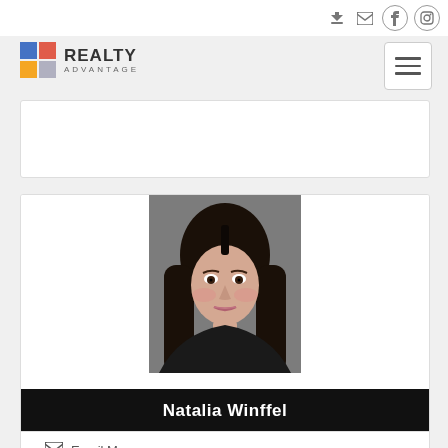[Figure (logo): Realty Advantage logo with 4-color grid and text]
[Figure (photo): Professional headshot of Natalia Winffel, woman with long dark hair, wearing black jacket, gray background]
Natalia Winffel
Email Me